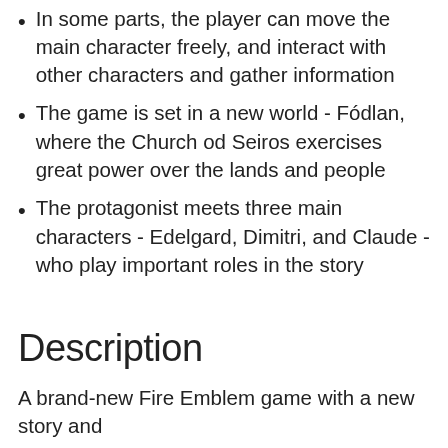maneuvers a unit, formations of troops move with them and support them in battle
In some parts, the player can move the main character freely, and interact with other characters and gather information
The game is set in a new world - Fódlan, where the Church od Seiros exercises great power over the lands and people
The protagonist meets three main characters - Edelgard, Dimitri, and Claude - who play important roles in the story
Description
A brand-new Fire Emblem game with a new story and